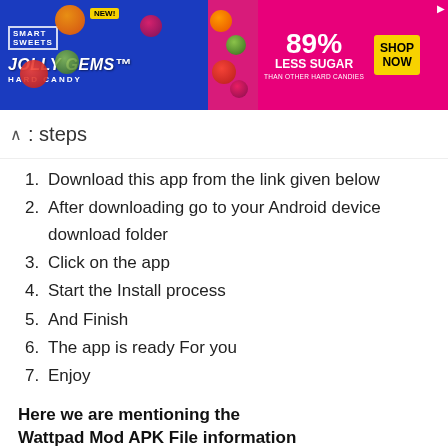[Figure (photo): Smart Sweets Jolly Gems Hard Candy advertisement banner. Left side blue background with Smart Sweets logo and Jolly Gems Hard Candy text and candy images. Right side pink/magenta background with '89% LESS SUGAR THAN OTHER HARD CANDIES' text and a yellow 'SHOP NOW' button.]
steps
Download this app from the link given below
After downloading go to your Android device download folder
Click on the app
Start the Install process
And Finish
The app is ready For you
Enjoy
Here we are mentioning the Wattpad Mod APK File information